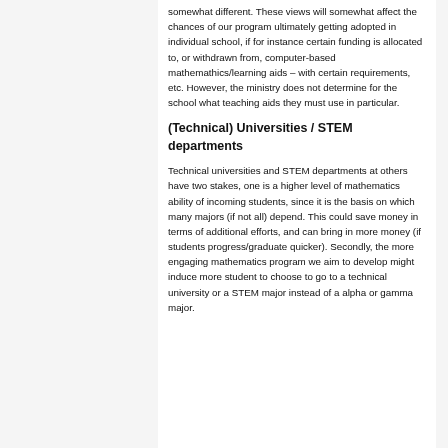somewhat different. These views will somewhat affect the chances of our program ultimately getting adopted in individual school, if for instance certain funding is allocated to, or withdrawn from, computer-based mathemathics/learning aids – with certain requirements, etc. However, the ministry does not determine for the school what teaching aids they must use in particular.
(Technical) Universities / STEM departments
Technical universities and STEM departments at others have two stakes, one is a higher level of mathematics ability of incoming students, since it is the basis on which many majors (if not all) depend. This could save money in terms of additional efforts, and can bring in more money (if students progress/graduate quicker). Secondly, the more engaging mathematics program we aim to develop might induce more student to choose to go to a technical university or a STEM major instead of a alpha or gamma major.